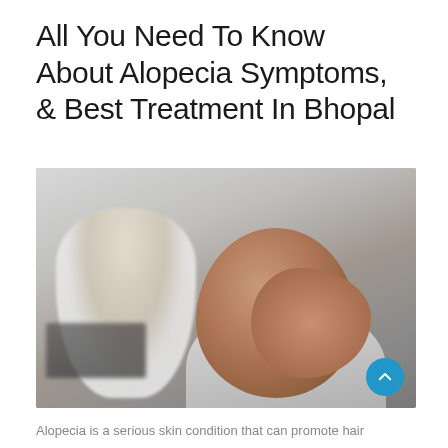All You Need To Know About Alopecia Symptoms, & Best Treatment In Bhopal
[Figure (photo): A bald man seen from behind, holding his hand on his head, sitting across from a doctor in a white coat who is using a laptop, in a clinical setting.]
Alopecia is a serious skin condition that can promote hair